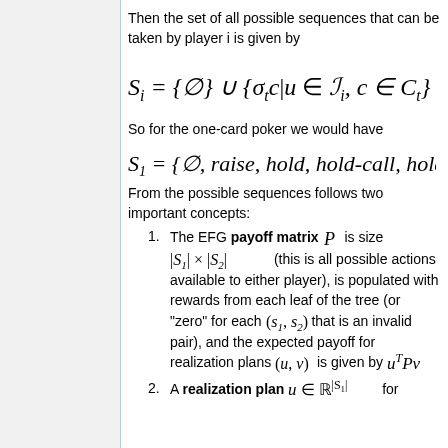Then the set of all possible sequences that can be taken by player i is given by
So for the one-card poker we would have
From the possible sequences follows two important concepts:
The EFG payoff matrix P is size |S_1| × |S_2| (this is all possible actions available to either player), is populated with rewards from each leaf of the tree (or "zero" for each (s_1, s_2) that is an invalid pair), and the expected payoff for realization plans (u, v) is given by u^T P v
A realization plan u ∈ ℝ^|S_1| for